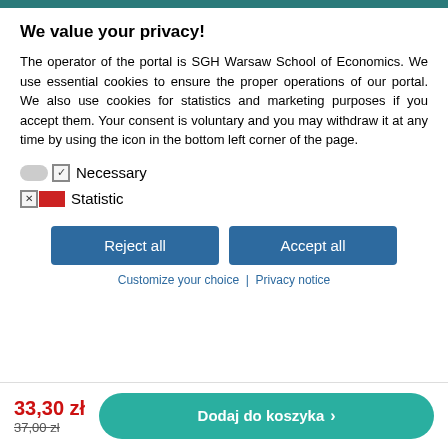We value your privacy!
The operator of the portal is SGH Warsaw School of Economics. We use essential cookies to ensure the proper operations of our portal. We also use cookies for statistics and marketing purposes if you accept them. Your consent is voluntary and you may withdraw it at any time by using the icon in the bottom left corner of the page.
Necessary
Statistic
Reject all
Accept all
Customize your choice | Privacy notice
33,30 zł
37,00 zł
Dodaj do koszyka